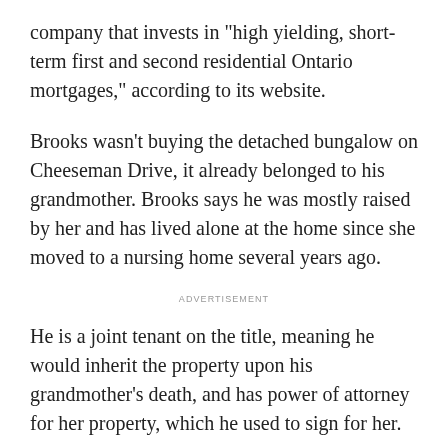company that invests in "high yielding, short-term first and second residential Ontario mortgages," according to its website.
Brooks wasn't buying the detached bungalow on Cheeseman Drive, it already belonged to his grandmother. Brooks says he was mostly raised by her and has lived alone at the home since she moved to a nursing home several years ago.
ADVERTISEMENT
He is a joint tenant on the title, meaning he would inherit the property upon his grandmother's death, and has power of attorney for her property, which he used to sign for her.